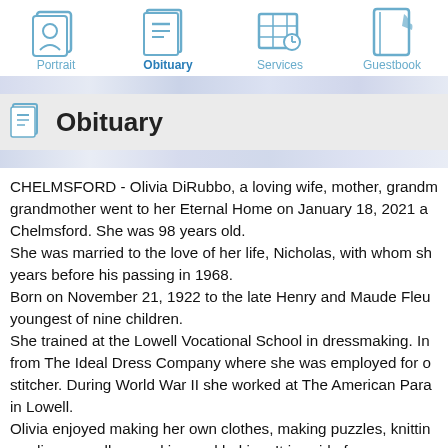Portrait | Obituary | Services | Guestbook
Obituary
CHELMSFORD - Olivia DiRubbo, a loving wife, mother, grandmother went to her Eternal Home on January 18, 2021 at Chelmsford. She was 98 years old.
She was married to the love of her life, Nicholas, with whom she years before his passing in 1968.
Born on November 21, 1922 to the late Henry and Maude Fleu youngest of nine children.
She trained at the Lowell Vocational School in dressmaking. In from The Ideal Dress Company where she was employed for stitcher. During World War II she worked at The American Para in Lowell.
Olivia enjoyed making her own clothes, making puzzles, knittin reading as well as cooking and baking. It is said of many peop make with their hands they give with their heart. And this she f sharing her handmade creations and baked goods with famil